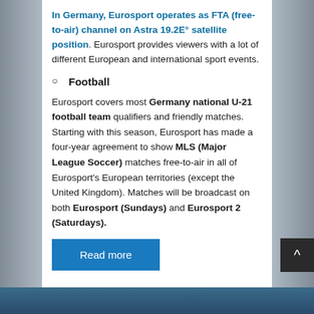In Germany, Eurosport operates as FTA (free-to-air) channel on Astra 19.2E° satellite position. Eurosport provides viewers with a lot of different European and international sport events.
Football
Eurosport covers most Germany national U-21 football team qualifiers and friendly matches. Starting with this season, Eurosport has made a four-year agreement to show MLS (Major League Soccer) matches free-to-air in all of Eurosport's European territories (except the United Kingdom). Matches will be broadcast on both Eurosport (Sundays) and Eurosport 2 (Saturdays).
Read more
FTA (Free-to-air) Sport Channels on HotBird 13.0°E Satellite Position